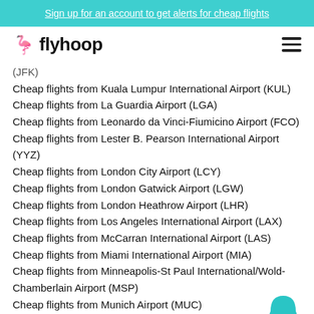Sign up for an account to get alerts for cheap flights
[Figure (logo): Flyhoop logo with flamingo icon and bold text 'flyhoop']
(JFK)
Cheap flights from Kuala Lumpur International Airport (KUL)
Cheap flights from La Guardia Airport (LGA)
Cheap flights from Leonardo da Vinci-Fiumicino Airport (FCO)
Cheap flights from Lester B. Pearson International Airport (YYZ)
Cheap flights from London City Airport (LCY)
Cheap flights from London Gatwick Airport (LGW)
Cheap flights from London Heathrow Airport (LHR)
Cheap flights from Los Angeles International Airport (LAX)
Cheap flights from McCarran International Airport (LAS)
Cheap flights from Miami International Airport (MIA)
Cheap flights from Minneapolis-St Paul International/Wold-Chamberlain Airport (MSP)
Cheap flights from Munich Airport (MUC)
Cheap flights from Narita International Airport (NRT)